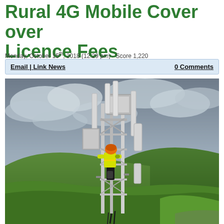Rural 4G Mobile Cover over Licence Fees
Monday, October 15th, 2018 (12:29 pm) - Score 1,220
Email | Link News   0 Comments
[Figure (photo): A worker in a yellow high-visibility jacket and orange hard hat climbing a mobile phone mast/tower structure, against a backdrop of rolling green hills and an overcast grey sky.]